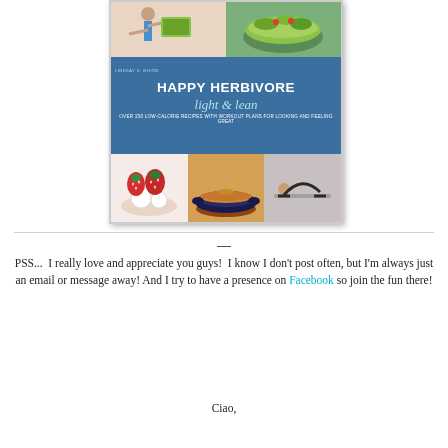[Figure (illustration): Book cover of 'Happy Herbivore Light & Lean' by Lindsay S. Nixon. Blue cover with food and fitness photos. Subtitle: Over 150 Low-Calorie Recipes with Workout Plans for Looking and Feeling Great.]
PSS...  I really love and appreciate you guys!  I know I don't post often, but I'm always just an email or message away!  And I try to have a presence on Facebook so join the fun there!
Ciao,